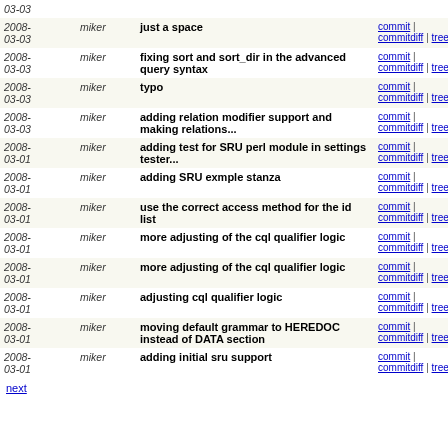| Date | Author | Message | Links |
| --- | --- | --- | --- |
| 2008-03-03 | miker | just a space | commit | commitdiff | tree |
| 2008-03-03 | miker | fixing sort and sort_dir in the advanced query syntax | commit | commitdiff | tree |
| 2008-03-03 | miker | typo | commit | commitdiff | tree |
| 2008-03-03 | miker | adding relation modifier support and making relations... | commit | commitdiff | tree |
| 2008-03-01 | miker | adding test for SRU perl module in settings tester... | commit | commitdiff | tree |
| 2008-03-01 | miker | adding SRU exmple stanza | commit | commitdiff | tree |
| 2008-03-01 | miker | use the correct access method for the id list | commit | commitdiff | tree |
| 2008-03-01 | miker | more adjusting of the cql qualifier logic | commit | commitdiff | tree |
| 2008-03-01 | miker | more adjusting of the cql qualifier logic | commit | commitdiff | tree |
| 2008-03-01 | miker | adjusting cql qualifier logic | commit | commitdiff | tree |
| 2008-03-01 | miker | moving default grammar to HEREDOC instead of DATA section | commit | commitdiff | tree |
| 2008-03-01 | miker | adding initial sru support | commit | commitdiff | tree |
next